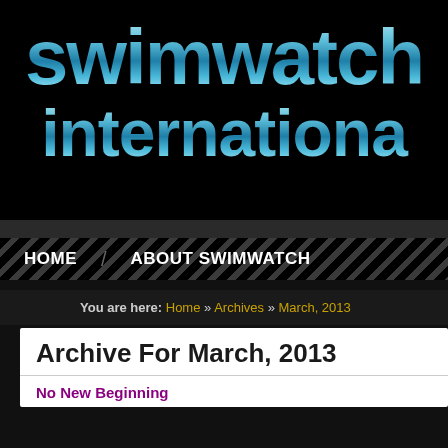[Figure (logo): Swimwatch International logo with blue water-textured lettering on black background. Two lines: 'swimwatch' and 'internationa' (partially visible).]
HOME   ABOUT SWIMWATCH
You are here: Home » Archives » March, 2013
Archive For March, 2013
No New Beginning